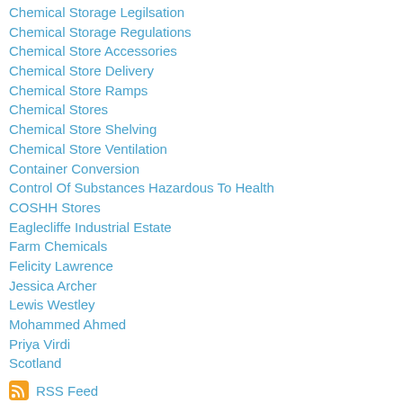Chemical Storage Legilsation
Chemical Storage Regulations
Chemical Store Accessories
Chemical Store Delivery
Chemical Store Ramps
Chemical Stores
Chemical Store Shelving
Chemical Store Ventilation
Container Conversion
Control Of Substances Hazardous To Health
COSHH Stores
Eaglecliffe Industrial Estate
Farm Chemicals
Felicity Lawrence
Jessica Archer
Lewis Westley
Mohammed Ahmed
Priya Virdi
Scotland
RSS Feed